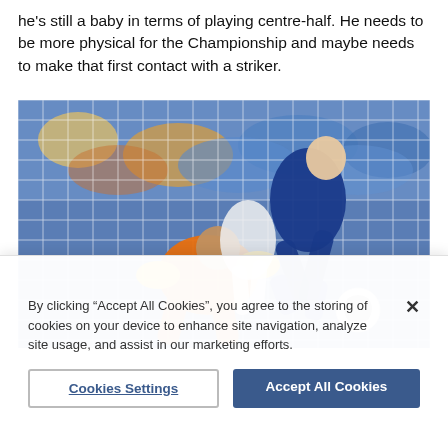he's still a baby in terms of playing centre-half. He needs to be more physical for the Championship and maybe needs to make that first contact with a striker.
[Figure (photo): Action photo of a football match: a player in blue kit (Ipswich Town) collides with a goalkeeper in orange kit near the goal net, with a crowded stadium in the background.]
By clicking “Accept All Cookies”, you agree to the storing of cookies on your device to enhance site navigation, analyze site usage, and assist in our marketing efforts.